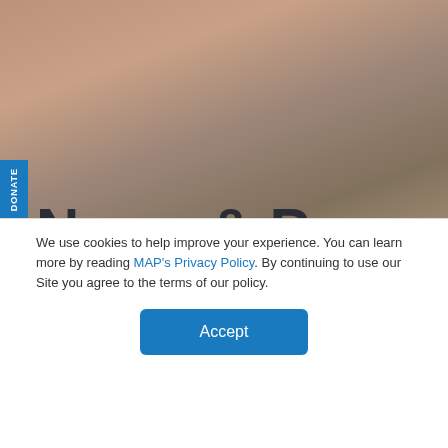[Figure (photo): Background photo of people, warm tones, partially obscured by overlay text and cookie banner]
News & Press Releases
Stay in-the-know about the great work that MAP is doing to help impact the 2 billion
We use cookies to help improve your experience. You can learn more by reading MAP's Privacy Policy. By continuing to use our Site you agree to the terms of our policy.
Accept